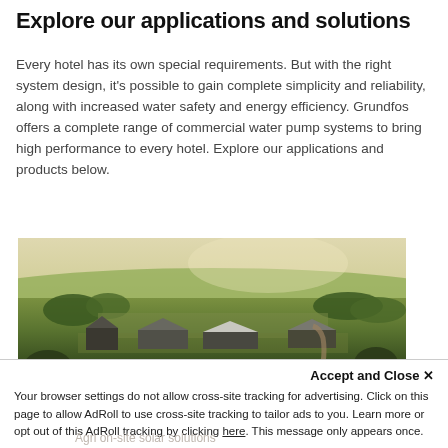Explore our applications and solutions
Every hotel has its own special requirements. But with the right system design, it's possible to gain complete simplicity and reliability, along with increased water safety and energy efficiency. Grundfos offers a complete range of commercial water pump systems to bring high performance to every hotel. Explore our applications and products below.
[Figure (photo): Aerial drone photograph of a rural farm property with multiple buildings, barns, and agricultural fields surrounded by trees and green landscape.]
Accept and Close ✕
Your browser settings do not allow cross-site tracking for advertising. Click on this page to allow AdRoll to use cross-site tracking to tailor ads to you. Learn more or opt out of this AdRoll tracking by clicking here. This message only appears once.